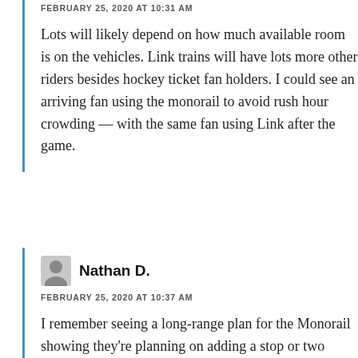FEBRUARY 25, 2020 AT 10:31 AM
Lots will likely depend on how much available room is on the vehicles. Link trains will have lots more other riders besides hockey ticket fan holders. I could see an arriving fan using the monorail to avoid rush hour crowding — with the same fan using Link after the game.
Nathan D.
FEBRUARY 25, 2020 AT 10:37 AM
I remember seeing a long-range plan for the Monorail showing they're planning on adding a stop or two along the route to serve Belltown/Denny Triangle, in the hope of improving…